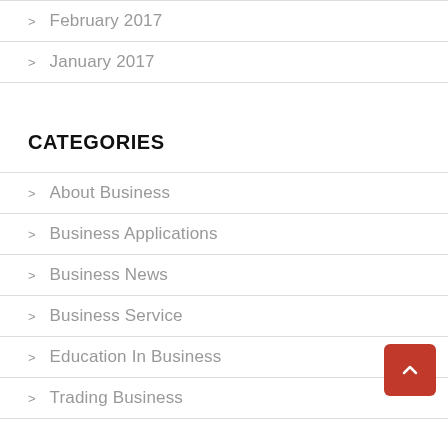February 2017
January 2017
CATEGORIES
About Business
Business Applications
Business News
Business Service
Education In Business
Trading Business